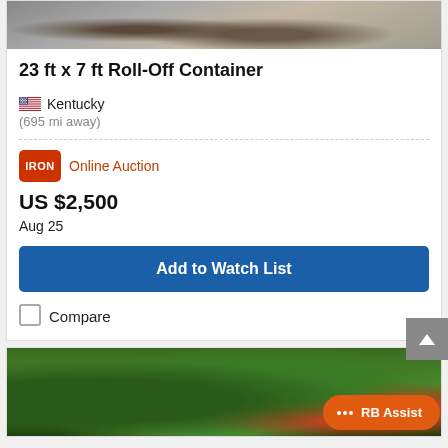[Figure (photo): Partial photo of a roll-off container or heavy equipment on gravel]
23 ft x 7 ft Roll-Off Container
🇺🇸 Kentucky
(695 mi away)
IRON Online Auction
US $2,500
Aug 25
Add to Watch List
Compare
[Figure (photo): Partial photo of trees and vegetation, bottom listing card]
RB Assist